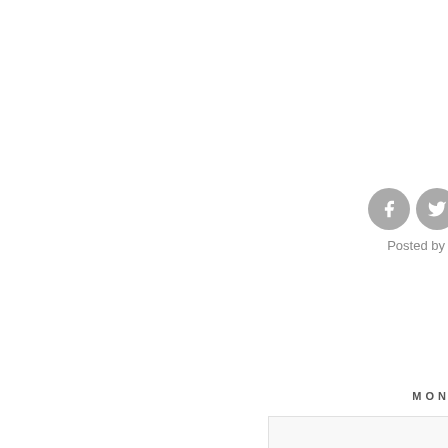[Figure (other): Social media share icons (Facebook and Twitter) as grey circles with white logos]
Posted by C
MON
ITA
let's c
for n